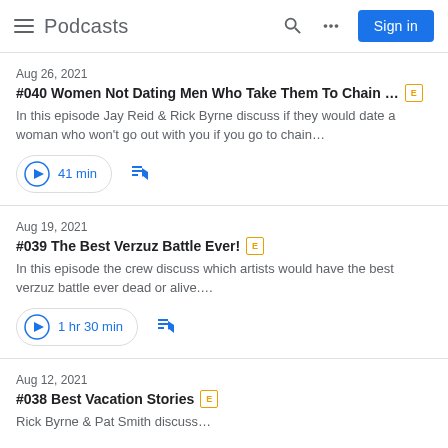Podcasts
Aug 26, 2021
#040 Women Not Dating Men Who Take Them To Chain … [E]
In this episode Jay Reid & Rick Byrne discuss if they would date a woman who won't go out with you if you go to chain…
41 min
Aug 19, 2021
#039 The Best Verzuz Battle Ever! [E]
In this episode the crew discuss which artists would have the best verzuz battle ever dead or alive.…
1 hr 30 min
Aug 12, 2021
#038 Best Vacation Stories [E]